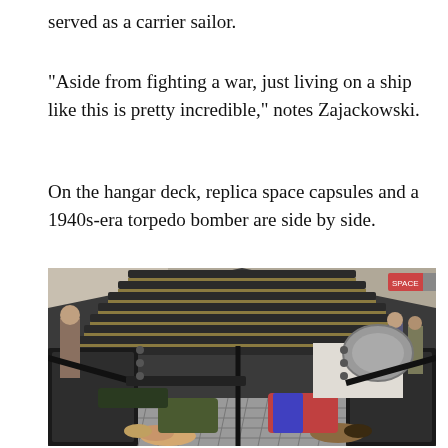served as a carrier sailor.
"Aside from fighting a war, just living on a ship like this is pretty incredible," notes Zajackowski.
On the hangar deck, replica space capsules and a 1940s-era torpedo bomber are side by side.
[Figure (photo): Children lying inside a replica space capsule exhibit on the hangar deck of an aircraft carrier museum. The capsule is open showing its interior with metal grating floor. People visible in background near exhibits.]